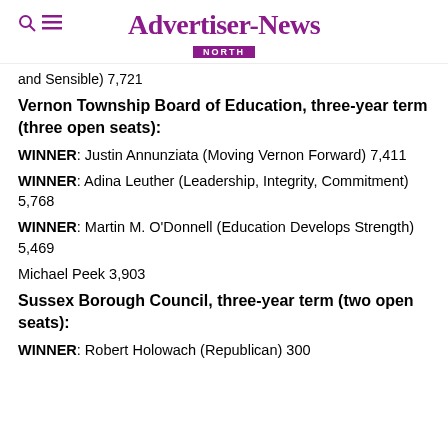Advertiser-News NORTH
and Sensible) 7,721
Vernon Township Board of Education, three-year term (three open seats):
WINNER: Justin Annunziata (Moving Vernon Forward) 7,411
WINNER: Adina Leuther (Leadership, Integrity, Commitment) 5,768
WINNER: Martin M. O'Donnell (Education Develops Strength) 5,469
Michael Peek 3,903
Sussex Borough Council, three-year term (two open seats):
WINNER: Robert Holowach (Republican) 300